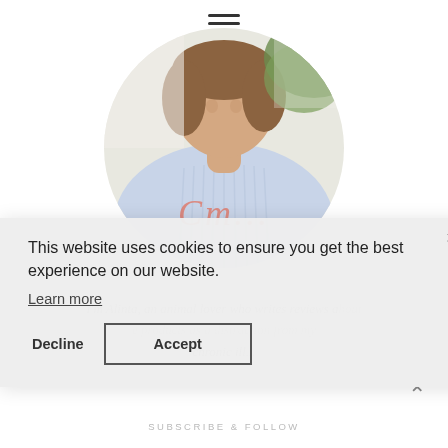[Figure (photo): Circular cropped profile photo of a person wearing a light blue ribbed turtleneck sweater, with green foliage visible in background]
I'm Alinta, an animal lover who writes reviews about e products as a distraction from my chronic ill...
SUBSCRIBE & FOLLOW
This website uses cookies to ensure you get the best experience on our website.
Learn more
Decline
Accept